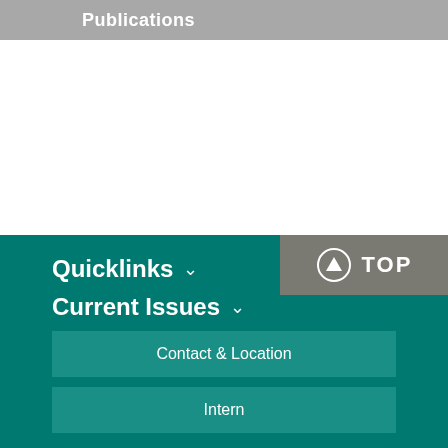Publications
Quicklinks
Current Issues
Contact & Location
Intern
Max Planck Society
RSS
[Figure (logo): Circular logo/seal at bottom of page]